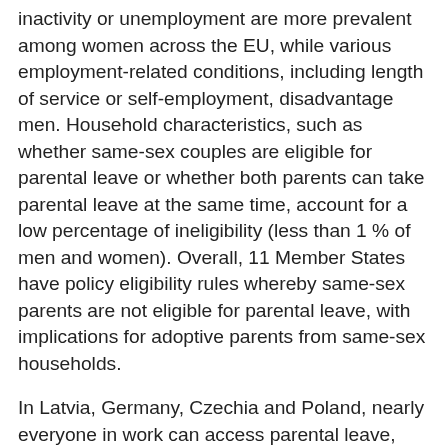inactivity or unemployment are more prevalent among women across the EU, while various employment-related conditions, including length of service or self-employment, disadvantage men. Household characteristics, such as whether same-sex couples are eligible for parental leave or whether both parents can take parental leave at the same time, account for a low percentage of ineligibility (less than 1 % of men and women). Overall, 11 Member States have policy eligibility rules whereby same-sex parents are not eligible for parental leave, with implications for adoptive parents from same-sex households.
In Latvia, Germany, Czechia and Poland, nearly everyone in work can access parental leave, and only unemployed or non-working people of parenting age are excluded[5] (Figure 36). In the remaining 24 Member States, reasons for ineligibility are much more varied. Self-employment as an ineligibility criteria is most significant in Greece, Italy and Spain, accounting for nearly half of all men and about one fifth of all women not